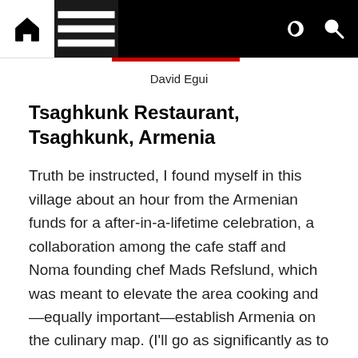Navigation bar with home, menu, dark mode, and search icons
David Egui
Tsaghkunk Restaurant, Tsaghkunk, Armenia
Truth be instructed, I found myself in this village about an hour from the Armenian funds for a after-in-a-lifetime celebration, a collaboration among the cafe staff and Noma founding chef Mads Refslund, which was meant to elevate the area cooking and—equally important—establish Armenia on the culinary map. (I'll go as significantly as to simply call it the new Georgia.) Refslund and his crew have prolonged considering that returned to New York, but the cafe was loads captivating ahead of they